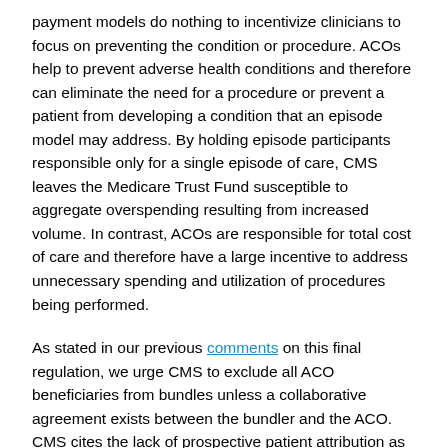payment models do nothing to incentivize clinicians to focus on preventing the condition or procedure. ACOs help to prevent adverse health conditions and therefore can eliminate the need for a procedure or prevent a patient from developing a condition that an episode model may address. By holding episode participants responsible only for a single episode of care, CMS leaves the Medicare Trust Fund susceptible to aggregate overspending resulting from increased volume. In contrast, ACOs are responsible for total cost of care and therefore have a large incentive to address unnecessary spending and utilization of procedures being performed.
As stated in our previous comments on this final regulation, we urge CMS to exclude all ACO beneficiaries from bundles unless a collaborative agreement exists between the bundler and the ACO. CMS cites the lack of prospective patient attribution as a potential administrative issue preventing the agency from excluding ACO assigned beneficiaries from bundles. However, we question the claim that prospective alignment would be necessary in order to exclude ACO beneficiaries from bundled payment programs when a